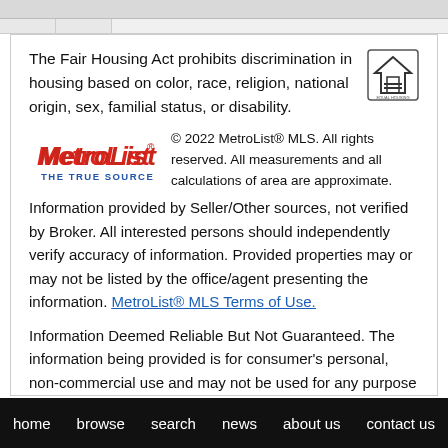The Fair Housing Act prohibits discrimination in housing based on color, race, religion, national origin, sex, familial status, or disability.
[Figure (logo): Equal Housing Opportunity logo — house outline with equal sign]
[Figure (logo): MetroList THE TRUE SOURCE logo in red and blue]
© 2022 MetroList® MLS. All rights reserved. All measurements and all calculations of area are approximate. Information provided by Seller/Other sources, not verified by Broker. All interested persons should independently verify accuracy of information. Provided properties may or may not be listed by the office/agent presenting the information. MetroList® MLS Terms of Use.
Information Deemed Reliable But Not Guaranteed. The information being provided is for consumer's personal, non-commercial use and may not be used for any purpose other than to identify prospective properties consumers may be interested in
home   browse   search   news   about us   contact us